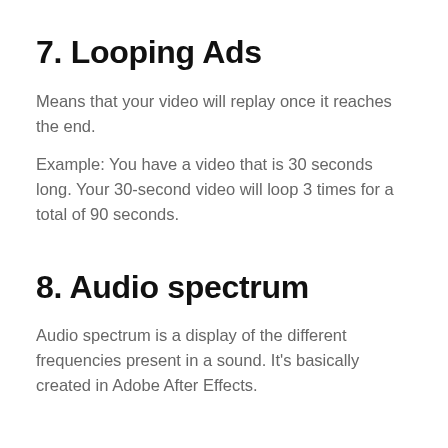7. Looping Ads
Means that your video will replay once it reaches the end.
Example: You have a video that is 30 seconds long. Your 30-second video will loop 3 times for a total of 90 seconds.
8. Audio spectrum
Audio spectrum is a display of the different frequencies present in a sound. It's basically created in Adobe After Effects.